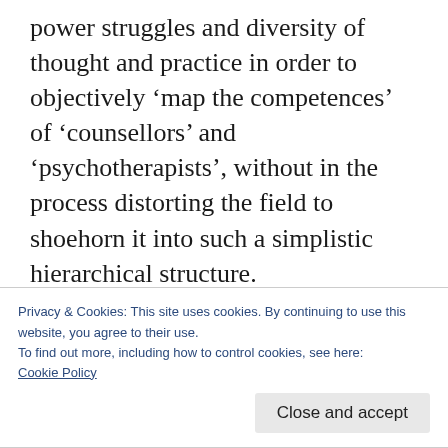power struggles and diversity of thought and practice in order to objectively ‘map the competences’ of ‘counsellors’ and ‘psychotherapists’, without in the process distorting the field to shoehorn it into such a simplistic hierarchical structure.
I am not suggesting a deliberate conspiracy here, more that a number of professional interests converge around the adoption of these frameworks, whose politically expedient
Privacy & Cookies: This site uses cookies. By continuing to use this website, you agree to their use.
To find out more, including how to control cookies, see here:
Cookie Policy
Close and accept
the NHS.